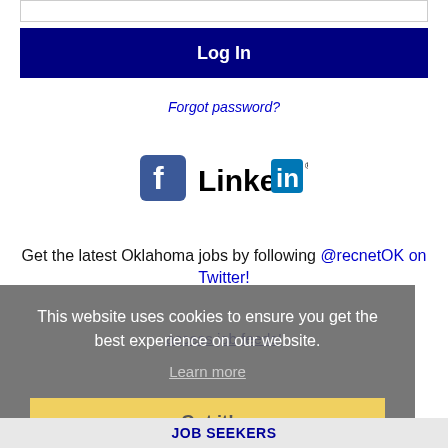[Figure (screenshot): Input field bar at the top of a login form]
Log In
Forgot password?
[Figure (logo): Facebook and LinkedIn social login icons]
Get the latest Oklahoma jobs by following @recnetOK on Twitter!
This website uses cookies to ensure you get the best experience on our website.
Learn more
Got it!
JOB SEEKERS